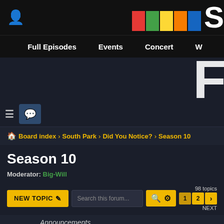South Park forum - navigation bar with Full Episodes, Events, Concert
Board index > South Park > Did You Notice? > Season 10
Season 10
Moderator: Big-Will
NEW TOPIC | Search this forum... | 98 topics | Page 1 2 NEXT
Announcements
People having an issue with the .lat and other sites
Last post by loginclark « Mon Jul 25, 2022 7:28 pm
Posted in Feedback
Replies: 81
South Park Registration